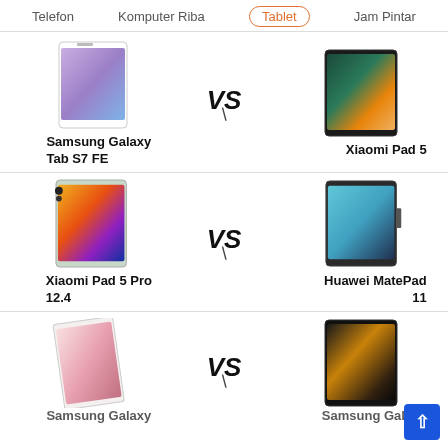Telefon | Komputer Riba | Tablet (active) | Jam Pintar
[Figure (screenshot): Comparison row 1: Samsung Galaxy Tab S7 FE vs Xiaomi Pad 5 tablet product images]
Samsung Galaxy Tab S7 FE
Xiaomi Pad 5
[Figure (screenshot): Comparison row 2: Xiaomi Pad 5 Pro 12.4 vs Huawei MatePad 11 tablet product images]
Xiaomi Pad 5 Pro 12.4
Huawei MatePad 11
[Figure (screenshot): Comparison row 3 (partial): Samsung Galaxy vs Samsung Galaxy tablet product images (cut off at bottom)]